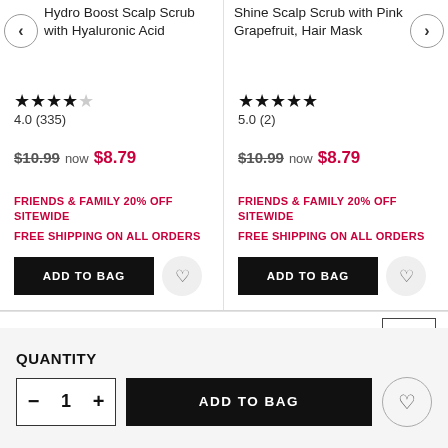Hydro Boost Scalp Scrub with Hyaluronic Acid
Shine Scalp Scrub with Pink Grapefruit, Hair Mask
4.0 (335)
5.0 (2)
$10.99 now $8.79
$10.99 now $8.79
FRIENDS & FAMILY 20% OFF SITEWIDE
FREE SHIPPING ON ALL ORDERS
FRIENDS & FAMILY 20% OFF SITEWIDE
FREE SHIPPING ON ALL ORDERS
ADD TO BAG
ADD TO BAG
QUANTITY
1
ADD TO BAG